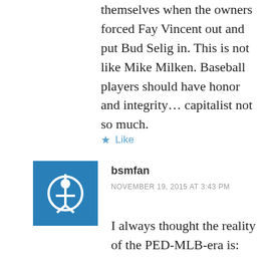themselves when the owners forced Fay Vincent out and put Bud Selig in. This is not like Mike Milken. Baseball players should have honor and integrity… capitalist not so much.
★ Like
bsmfan
NOVEMBER 19, 2015 AT 3:43 PM
I always thought the reality of the PED-MLB-era is:
Once you've got these elite, tenured